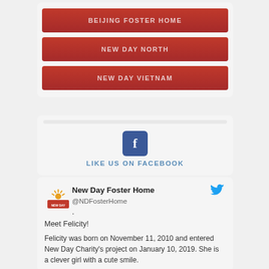BEIJING FOSTER HOME
NEW DAY NORTH
NEW DAY VIETNAM
[Figure (logo): Facebook logo icon with 'f' in blue square]
LIKE US ON FACEBOOK
[Figure (logo): New Day Foster Home logo]
New Day Foster Home @NDFosterHome
Meet Felicity!
Felicity was born on November 11, 2010 and entered New Day Charity's project on January 10, 2019. She is a clever girl with a cute smile.